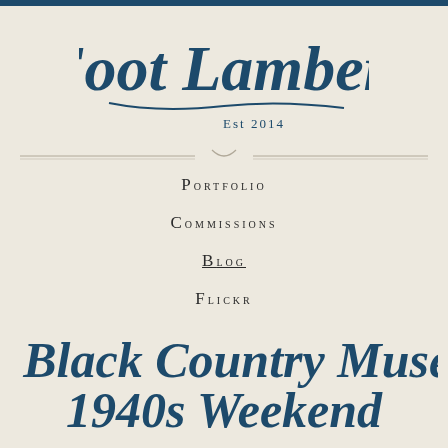[Figure (logo): Foot Lambert script logo with 'Est 2014' below, dark navy blue on cream background]
Portfolio
Commissions
Blog
Flickr
The Black Country Museum 1940s Weekend